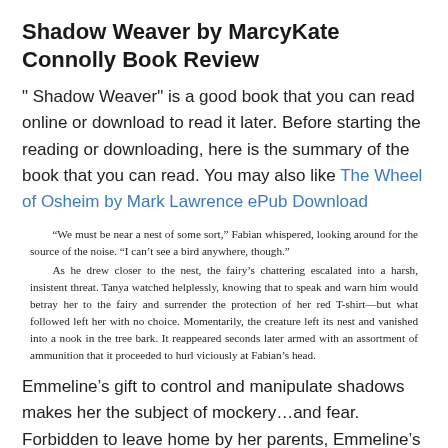Shadow Weaver by MarcyKate Connolly Book Review
" Shadow Weaver" is a good book that you can read online or download to read it later. Before starting the reading or downloading, here is the summary of the book that you can read. You may also like The Wheel of Osheim by Mark Lawrence ePub Download
“We must be near a nest of some sort,” Fabian whispered, looking around for the source of the noise. “I can’t see a bird anywhere, though.” As he drew closer to the nest, the fairy’s chattering escalated into a harsh, insistent threat. Tanya watched helplessly, knowing that to speak and warn him would betray her to the fairy and surrender the protection of her red T-shirt—but what followed left her with no choice. Momentarily, the creature left its nest and vanished into a nook in the tree bark. It reappeared seconds later armed with an assortment of ammunition that it proceeded to hurl viciously at Fabian’s head.
Emmeline’s gift to control and manipulate shadows makes her the subject of mockery…and fear. Forbidden to leave home by her parents, Emmeline’s closest confidant is her own shadow, Dar.